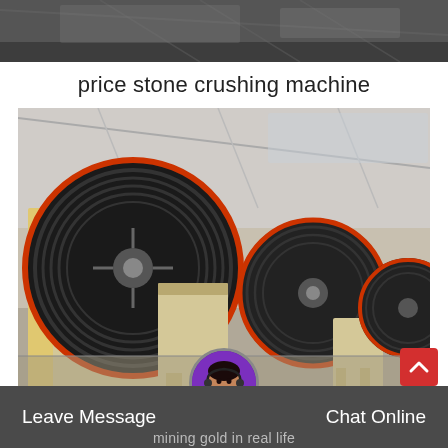[Figure (photo): Top strip photo of industrial machinery in a factory setting, dark/muted tones]
price stone crushing machine
[Figure (photo): Row of large jaw crusher machines with yellow frames and black/red flywheel pulleys lined up in an industrial factory hall]
[Figure (photo): Avatar of a female customer service representative with headset, circular crop with purple border]
Leave Message
Chat Online
mining gold in real life